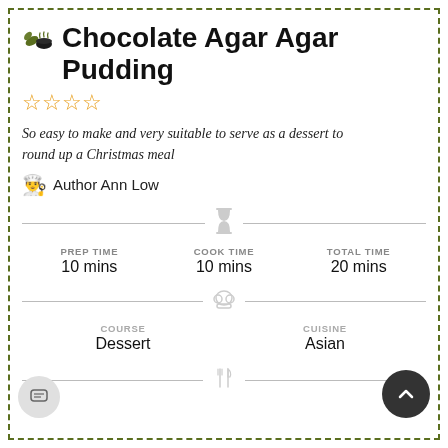🌿🍵 Chocolate Agar Agar Pudding
☆☆☆☆ (star rating)
So easy to make and very suitable to serve as a dessert to round up a Christmas meal
👨‍🍳 Author Ann Low
PREP TIME: 10 mins | COOK TIME: 10 mins | TOTAL TIME: 20 mins
COURSE: Dessert | CUISINE: Asian